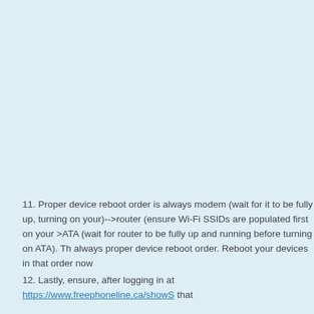11. Proper device reboot order is always modem (wait for it to be fully up, turning on your)-->router (ensure Wi-Fi SSIDs are populated first on your >ATA (wait for router to be fully up and running before turning on ATA). Th always proper device reboot order. Reboot your devices in that order now
12. Lastly, ensure, after logging in at https://www.freephoneline.ca/showS that